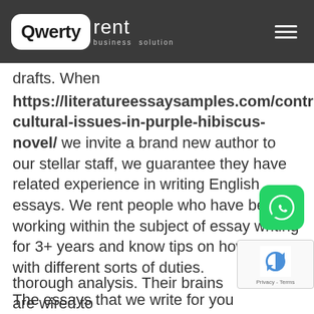[Figure (logo): Qwertyrent business solution logo with white rounded Qwerty box and white rent text on dark gray navbar, with hamburger menu icon on right]
drafts. When https://literatureessaysamples.com/controversial-cultural-issues-in-purple-hibiscus-novel/ we invite a brand new author to our stellar staff, we guarantee they have related experience in writing English essays. We rent people who have been working within the subject of essay writing for 3+ years and know tips on how to deal with different sorts of duties.
The essays that we write for you have been thoroughly proofread and edited. EssayLab EssayLab analysts perceive the importance of thorough analysis. Their brains are wired to